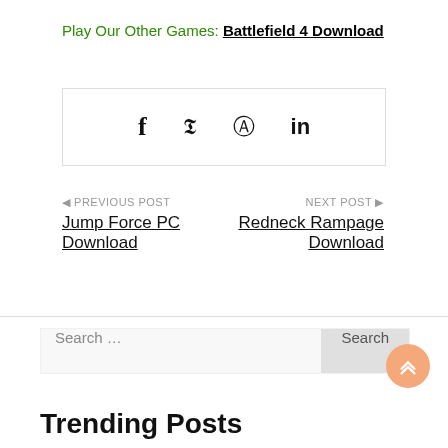Play Our Other Games: Battlefield 4 Download
[Figure (other): Social share icons: Facebook (f), Twitter (bird), Pinterest (p), LinkedIn (in)]
◀ PREVIOUS POST
Jump Force PC Download
NEXT POST ▶
Redneck Rampage Download
Search ...
Trending Posts